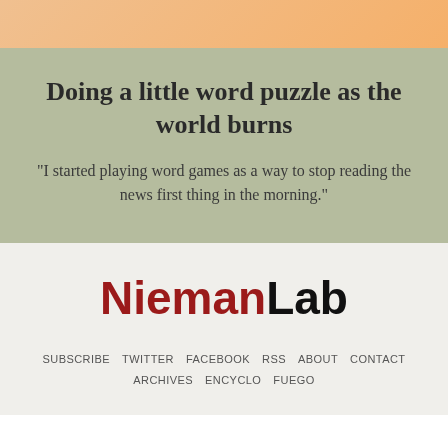[Figure (other): Peach/orange gradient banner at top of page]
Doing a little word puzzle as the world burns
“I started playing word games as a way to stop reading the news first thing in the morning.”
[Figure (logo): NiemanLab logo with Nieman in dark red and Lab in black bold sans-serif]
SUBSCRIBE  TWITTER  FACEBOOK  RSS  ABOUT  CONTACT  ARCHIVES  ENCYCLO  FUEGO